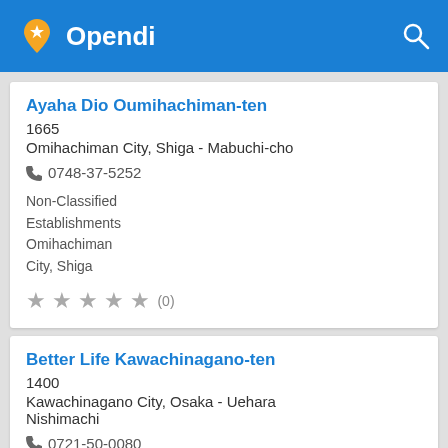Opendi
Ayaha Dio Oumihachiman-ten
1665
Omihachiman City, Shiga - Mabuchi-cho
☎ 0748-37-5252
Non-Classified Establishments Omihachiman City, Shiga
★★★★★ (0)
Better Life Kawachinagano-ten
1400
Kawachinagano City, Osaka - Uehara Nishimachi
☎ 0721-50-0080